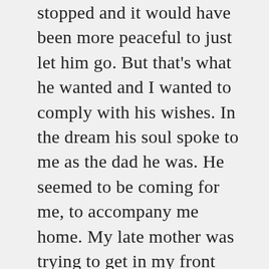stopped and it would have been more peaceful to just let him go. But that's what he wanted and I wanted to comply with his wishes. In the dream his soul spoke to me as the dad he was. He seemed to be coming for me, to accompany me home. My late mother was trying to get in my front door. She was frantic as she often was in the later stages of her dementia, fearful and crazed. I didn't want to let her in. In another dream a strange man got into my house. I was scared. I had no way of preventing his access. I don't know who he was. I forced myself awake just as he came near me.
I wrote down this dream dated June 10, 2019.